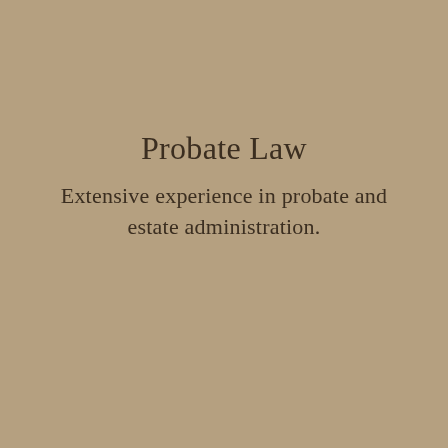Probate Law
Extensive experience in probate and estate administration.